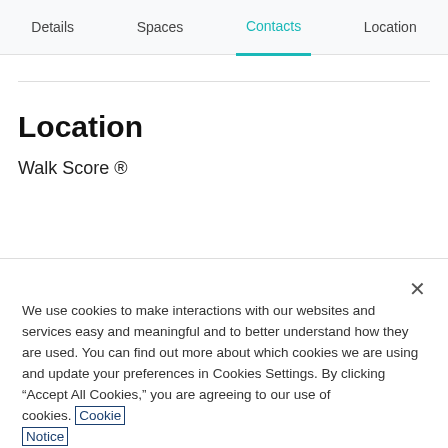Details  Spaces  Contacts  Location
Location
Walk Score ®
We use cookies to make interactions with our websites and services easy and meaningful and to better understand how they are used. You can find out more about which cookies we are using and update your preferences in Cookies Settings. By clicking “Accept All Cookies,” you are agreeing to our use of cookies. Cookie Notice
Cookies Settings
Accept All Cookies